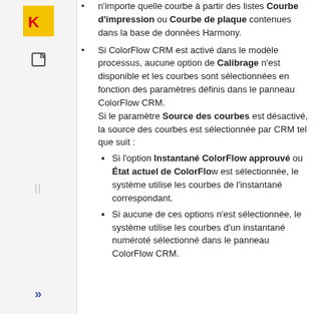n'importe quelle courbe à partir des listes Courbe d'impression ou Courbe de plaque contenues dans la base de données Harmony.
Si ColorFlow CRM est activé dans le modèle processus, aucune option de Calibrage n'est disponible et les courbes sont sélectionnées en fonction des paramètres définis dans le panneau ColorFlow CRM. Si le paramètre Source des courbes est désactivé, la source des courbes est sélectionnée par CRM tel que suit :
Si l'option Instantané ColorFlow approuvé ou État actuel de ColorFlow est sélectionnée, le système utilise les courbes de l'instantané correspondant.
Si aucune de ces options n'est sélectionnée, le système utilise les courbes d'un instantané numéroté sélectionné dans le panneau ColorFlow CRM.